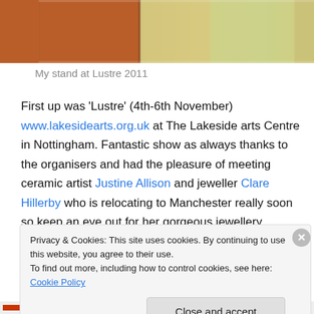[Figure (photo): Photo of a craft/art display stand with colorful items, showing the interior of a fair or exhibition booth.]
My stand at Lustre 2011
First up was ‘Lustre’ (4th-6th November) www.lakesidearts.org.uk at The Lakeside arts Centre in Nottingham. Fantastic show as always thanks to the organisers and had the pleasure of meeting ceramic artist Justine Allison and jeweller Clare Hillerby who is relocating to Manchester really soon so keep an eye out for her gorgeous jewellery.
Privacy & Cookies: This site uses cookies. By continuing to use this website, you agree to their use.
To find out more, including how to control cookies, see here: Cookie Policy
Close and accept